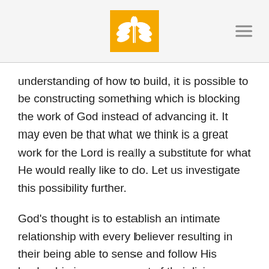[Logo: wheat/grain icon] [hamburger menu]
understanding of how to build, it is possible to be constructing something which is blocking the work of God instead of advancing it. It may even be that what we think is a great work for the Lord is really a substitute for what He would really like to do. Let us investigate this possibility further.
God’s thought is to establish an intimate relationship with every believer resulting in their being able to sense and follow His leadership in every aspect of their living. Therefore, when we wish to minister to others, this too must be our goal. Our objective must be to help expose